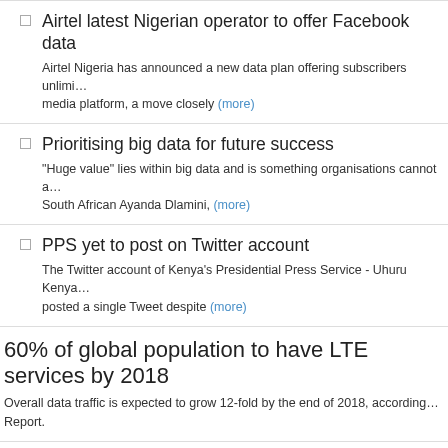Airtel latest Nigerian operator to offer Facebook data
Airtel Nigeria has announced a new data plan offering subscribers unlimi… media platform, a move closely (more)
Prioritising big data for future success
"Huge value" lies within big data and is something organisations cannot a… South African Ayanda Dlamini, (more)
PPS yet to post on Twitter account
The Twitter account of Kenya's Presidential Press Service - Uhuru Kenya… posted a single Tweet despite (more)
60% of global population to have LTE services by 2018
Overall data traffic is expected to grow 12-fold by the end of 2018, according… Report.
Cybercrime a national crisis in SA
Cybercrime has been declared a national crisis by the South African Cen… which revealed the country as third (more)